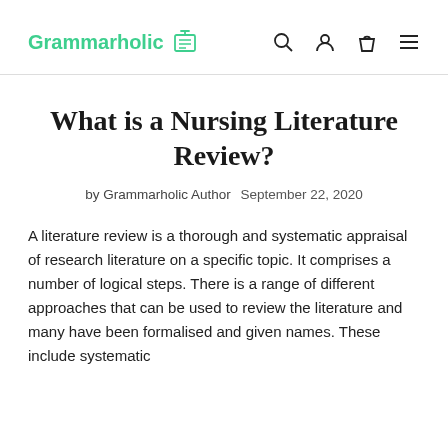Grammarholic
What is a Nursing Literature Review?
by Grammarholic Author   September 22, 2020
A literature review is a thorough and systematic appraisal of research literature on a specific topic. It comprises a number of logical steps. There is a range of different approaches that can be used to review the literature and many have been formalised and given names. These include systematic